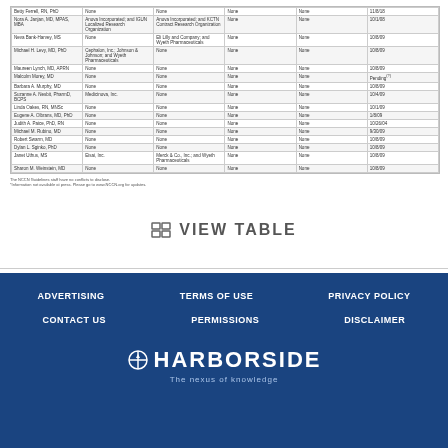| Name | Employment | Consultant | Speakers Bureau | Stock/Ownership | Honoraria | Date |
| --- | --- | --- | --- | --- | --- | --- |
| Betty Ferrell, RN, PhD | None | None | None | None | 11/8/18 |
| Nora A. Janjan, MD, MPAS, MBA | Anova Incorporated; and IGUN Localized Research Organization | Anova Incorporated; and KCTN Contract Research Organization | None | None | 10/1/08 |
| Neva Bank-Harvey, MS | None | Eli Lilly and Company; and Wyeth Pharmaceuticals | None | None | 10/8/09 |
| Michael H. Levy, MD, PhD | Cephalon, Inc.; Johnson & Johnson; and Wyeth Pharmaceuticals | None | None | None | 10/8/09 |
| Maureen Lynch, MD, APRN | None | None | None | None | 10/8/09 |
| Malcolm Morey, MD | None | None | None | None | Pending (?) |
| Barbara A. Murphy, MD | None | None | None | None | 10/8/09 |
| Suzanne A. Nesbit, PharmD, BCPS | Medicinova, Inc. | None | None | None | 10/4/09 |
| Linda Oakes, RN, MNSc | None | None | None | None | 10/1/09 |
| Eugene A. Olbrans, MD, PhD | None | None | None | None | 1/8/09 |
| Judith A. Paice, PhD, RN | None | None | None | None | 10/26/04 |
| Michael M. Rubino, MD | None | None | None | None | 9/30/09 |
| Robert Swarm, MD | None | None | None | None | 10/8/09 |
| Dylan L. Sginko, PhD | None | None | None | None | 10/8/09 |
| Janet Uthus, MS | Eisai, Inc. | Merck & Co., Inc.; and Wyeth Pharmaceuticals | None | None | 10/8/09 |
| Sharon M. Weinstein, MD | None | None | None | None | 10/8/09 |
The NCCN Guidelines staff have no conflicts to disclose.
*Information not available at press. Please go to www.NCCN.org for updates.
VIEW TABLE
ADVERTISING   TERMS OF USE   PRIVACY POLICY   CONTACT US   PERMISSIONS   DISCLAIMER   HARBORSIDE - The nexus of knowledge